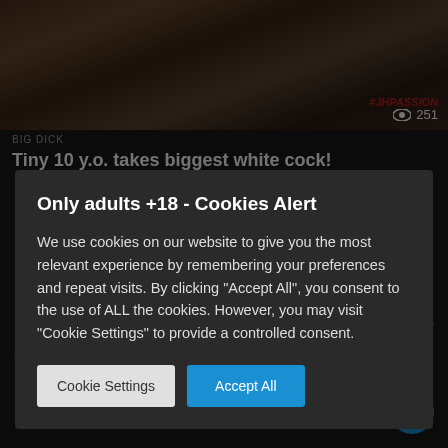[Figure (screenshot): Top portion of adult video website showing a thumbnail image with view count 251 and watermark text]
BIG DICK
Tiny 10 y.o. takes biggest white cock!
Only adults +18 - Cookies Alert
We use cookies on our website to give you the most relevant experience by remembering your preferences and repeat visits. By clicking "Accept All", you consent to the use of ALL the cookies. However, you may visit "Cookie Settings" to provide a controlled consent.
Cookie Settings
Accept All
[Figure (screenshot): Bottom portion of adult video website showing another thumbnail with view count 221]
BIG DICK
My Saint